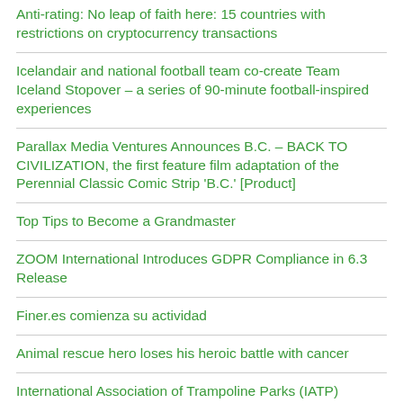Anti-rating: No leap of faith here: 15 countries with restrictions on cryptocurrency transactions
Icelandair and national football team co-create Team Iceland Stopover – a series of 90-minute football-inspired experiences
Parallax Media Ventures Announces B.C. – BACK TO CIVILIZATION, the first feature film adaptation of the Perennial Classic Comic Strip 'B.C.' [Product]
Top Tips to Become a Grandmaster
ZOOM International Introduces GDPR Compliance in 6.3 Release
Finer.es comienza su actividad
Animal rescue hero loses his heroic battle with cancer
International Association of Trampoline Parks (IATP) Jumping to New Heights in Trampoline Park Arena at 7th Annual IATP Trade Show